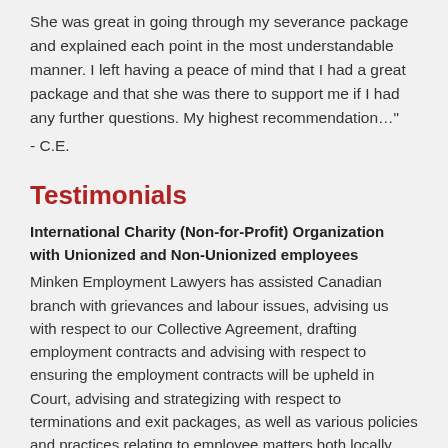She was great in going through my severance package and explained each point in the most understandable manner. I left having a peace of mind that I had a great package and that she was there to support me if I had any further questions. My highest recommendation…"
- C.E.
Testimonials
International Charity (Non-for-Profit) Organization with Unionized and Non-Unionized employees
Minken Employment Lawyers has assisted Canadian branch with grievances and labour issues, advising us with respect to our Collective Agreement, drafting employment contracts and advising with respect to ensuring the employment contracts will be upheld in Court, advising and strategizing with respect to terminations and exit packages, as well as various policies and practices relating to employee matters both locally and abroad."